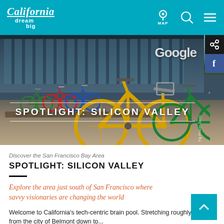California dream big — Navigation bar with MAP, search, and menu icons
[Figure (photo): Hero image of colorful Google bicycles (red, yellow, green) parked outside Google headquarters building, Silicon Valley. Text overlay reads 'SPOTLIGHT: SILICON VALLEY' with white horizontal rules above and below.]
Discover the San Francisco Bay Area
SPOTLIGHT: SILICON VALLEY
Explore the area just south of San Francisco where savvy visionaries are changing the world
Welcome to California's tech-centric brain pool. Stretching roughly from the city of Belmont down to...